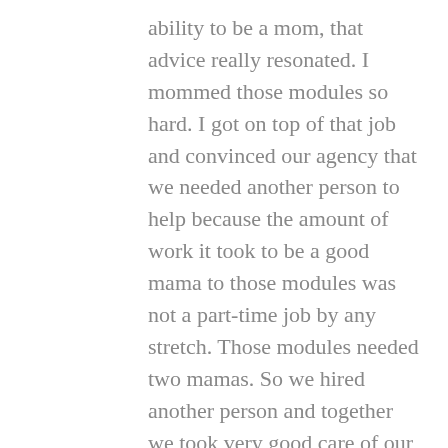ability to be a mom, that advice really resonated. I mommed those modules so hard. I got on top of that job and convinced our agency that we needed another person to help because the amount of work it took to be a good mama to those modules was not a part-time job by any stretch. Those modules needed two mamas. So we hired another person and together we took very good care of our module babies.

Mamas are heroic. Mamas get their